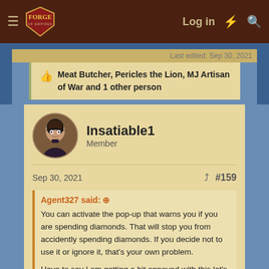Forge of Empires — Log in
Last edited: Sep 30, 2021
Meat Butcher, Pericles the Lion, MJ Artisan of War and 1 other person
Insatiable1
Member
Sep 30, 2021
#159
Agent327 said:
You can activate the pop-up that warns you if you are spending diamonds. That will stop you from accidently spending diamonds. If you decide not to use it or ignore it, that's your own problem.

Have to say I am getting a bit annoyed with this let's flood Support so we will get what we want attitude. Those guys and girls handling Support are players just like you and me. They are not responsible for decisions made by Inno. They are doing the best they can. Drive them away and you will have no Support at all. Is that what you want?
I have seen Inno moving the position of the Medals purchase